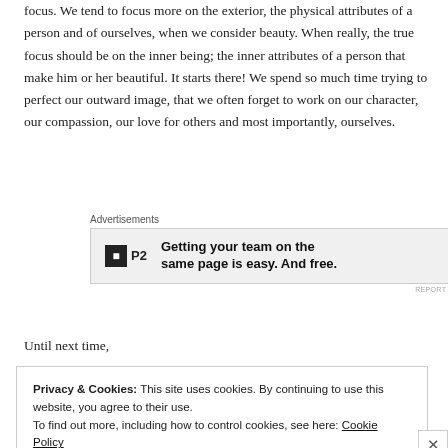focus. We tend to focus more on the exterior, the physical attributes of a person and of ourselves, when we consider beauty. When really, the true focus should be on the inner being; the inner attributes of a person that make him or her beautiful. It starts there! We spend so much time trying to perfect our outward image, that we often forget to work on our character, our compassion, our love for others and most importantly, ourselves.
[Figure (other): Advertisement banner: P2 logo with text 'Getting your team on the same page is easy. And free.']
Until next time,
Privacy & Cookies: This site uses cookies. By continuing to use this website, you agree to their use. To find out more, including how to control cookies, see here: Cookie Policy
Close and accept